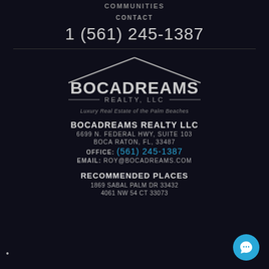COMMUNITIES
CONTACT
1 (561) 245-1387
[Figure (logo): Bocadreams Realty LLC logo with rooftop graphic, company name BOCADREAMS REALTY, LLC and tagline Luxury Real Estate of the Palm Beaches]
BOCADREAMS REALTY LLC
6699 N. FEDERAL HWY, SUITE 103
BOCA RATON, FL, 33487
OFFICE: (561) 245-1387
EMAIL: ROY@BOCADREAMS.COM
RECOMMENDED PLACES
1869 SABAL PALM DR 33432
4061 NW 54 CT 33073